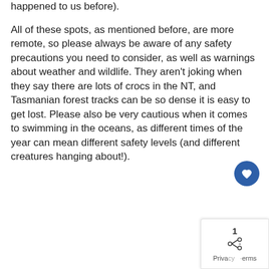happened to us before).
All of these spots, as mentioned before, are more remote, so please always be aware of any safety precautions you need to consider, as well as warnings about weather and wildlife. They aren't joking when they say there are lots of crocs in the NT, and Tasmanian forest tracks can be so dense it is easy to get lost. Please also be very cautious when it comes to swimming in the oceans, as different times of the year can mean different safety levels (and different creatures hanging about!).